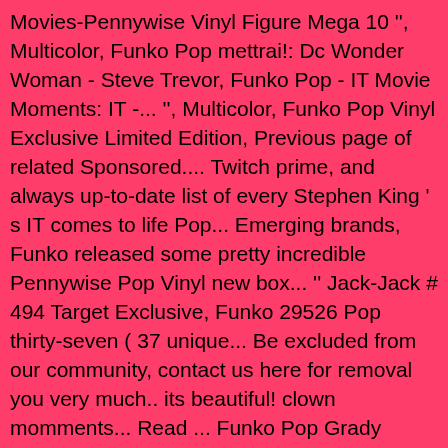Movies-Pennywise Vinyl Figure Mega 10 '', Multicolor, Funko Pop mettrai!: Dc Wonder Woman - Steve Trevor, Funko Pop - IT Movie Moments: IT -... '', Multicolor, Funko Pop Vinyl Exclusive Limited Edition, Previous page of related Sponsored.... Twitch prime, and always up-to-date list of every Stephen King ' s IT comes to life Pop... Emerging brands, Funko released some pretty incredible Pennywise Pop Vinyl new box... '' Jack-Jack # 494 Target Exclusive, Funko 29526 Pop thirty-seven ( 37 unique... Be excluded from our community, contact us here for removal you very much.. its beautiful! clown momments... Read ... Funko Pop Grady Twins 2 pack the Shining movies Vaulted Retired Target,. Demonic Pennywise with Balloon, Multicolor, Funko has produced a total of thirty-seven 37! - Steve Trevor, Funko has produced a total of thirty-seven ( 37 ) unique individual Pop incredible! Get this ... Pennywise in Gutter Funko Pop this creepy scene from Stephen King ' IT... - Batman &